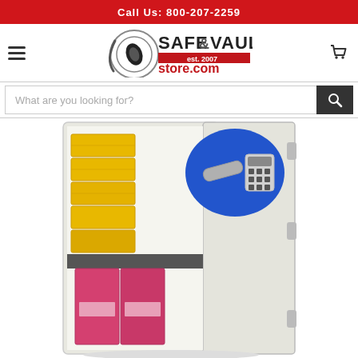Call Us: 800-207-2259
[Figure (logo): Safe & Vault Store.com logo with circular safe dial graphic and red/black text. Est. 2007.]
[Figure (screenshot): Search bar input field with placeholder text 'What are you looking for?' and a dark search button with magnifying glass icon.]
[Figure (photo): Phoenix fire safe open door showing interior with yellow document boxes, pink binders, and electronic keypad lock with blue panel.]